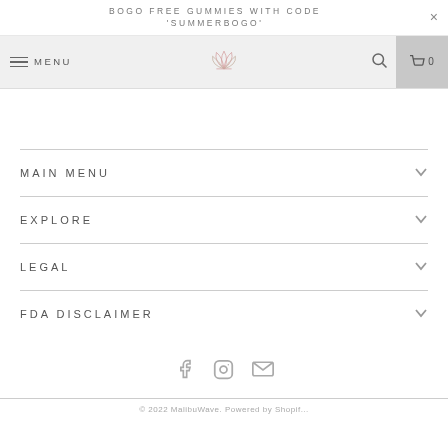BOGO FREE GUMMIES WITH CODE 'SUMMERBOGO'
MENU [logo] [search] [cart 0]
MAIN MENU
EXPLORE
LEGAL
FDA DISCLAIMER
[Figure (other): Social media icons: Facebook, Instagram, Email]
© 2022 MalibuWave. Powered by Shopif...